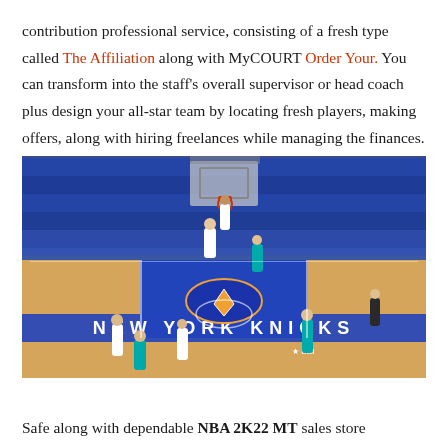contribution professional service, consisting of a fresh type called The Affiliation along with MyCOURT Order Your. You can transform into the staff's overall supervisor or head coach plus design your all-star team by locating fresh players, making offers, along with hiring freelances while managing the finances.
[Figure (photo): NBA 2K22 video game screenshot showing a basketball game at Madison Square Garden with New York Knicks branding on the court. Players are shown during a dunk attempt with a packed crowd of fans wearing blue Knicks shirts in the background.]
Safe along with dependable NBA 2K22 MT sales store